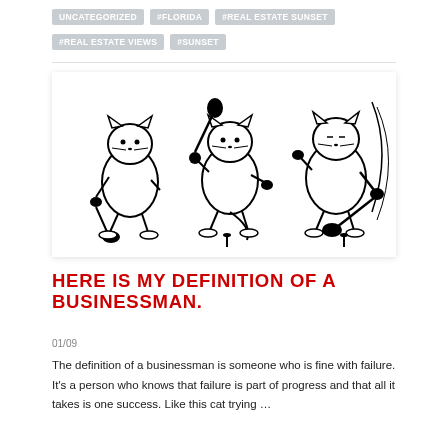UNCATEGORIZED
#FLORIDA
#REAL ESTATE SUNSET
#REAL ESTATE VIEWS
#SUNSET
[Figure (illustration): Three cartoon cats playing golf: first cat standing with golf club down, second cat in backswing pose holding club up, third cat in full swing follow-through with motion lines, all drawn in black and white line art style.]
HERE IS MY DEFINITION OF A BUSINESSMAN.
01/09
The definition of a businessman is someone who is fine with failure. It's a person who knows that failure is part of progress and that all it takes is one success. Like this cat trying …